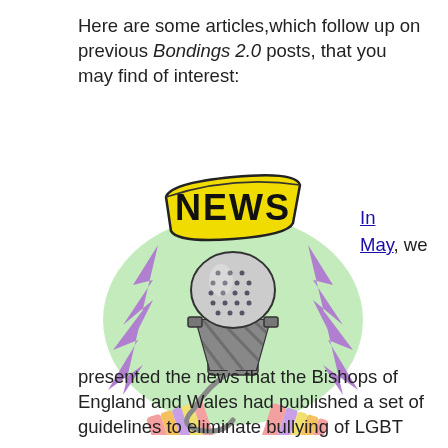Here are some articles,which follow up on previous Bondings 2.0 posts, that you may find of interest:
[Figure (illustration): Clip art illustration of a microphone with a yellow banner reading 'NEWS' on top, surrounded by purple lightning bolts and a green glow, with colorful striped fabric at the base.]
In May, we
presented the news that the Bishops of England and Wales had published a set of guidelines to eliminate bullying of LGBT on their Catholic schools. The National...